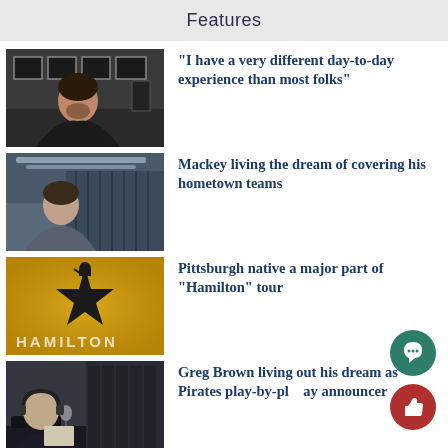Features
[Figure (photo): Man in black shirt in a room with framed pictures on wall]
“I have a very different day-to-day experience than most folks”
[Figure (photo): Man in grey jacket in an arena setting]
Mackey living the dream of covering his hometown teams
[Figure (photo): Hamilton musical poster with star logo and golden background]
Pittsburgh native a major part of “Hamilton” tour
[Figure (photo): Greg Brown at broadcast desk with microphone and headphones]
Greg Brown living out his dream as Pirates play-by-play announcer